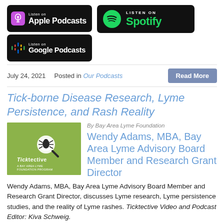[Figure (logo): Listen on Apple Podcasts badge (black rounded rectangle with Apple Podcasts icon)]
[Figure (logo): Listen on Spotify badge (black rounded rectangle with Spotify logo in green)]
[Figure (logo): Listen on Google Podcasts badge (black rounded rectangle with Google Podcasts colorful icon)]
July 24, 2021   Posted in Our Podcasts
Tick-borne Disease Research, Lyme Persistence, and Rash Reality
[Figure (logo): Ticktective – A Bay Area Lyme Foundation Program logo on green background with tick magnifying glass illustration]
By Bay Area Lyme Foundation
Wendy Adams, MBA, Bay Area Lyme Advisory Board Member and Research Grant Director
Wendy Adams, MBA, Bay Area Lyme Advisory Board Member and Research Grant Director, discusses Lyme research, Lyme persistence studies, and the reality of Lyme rashes. Ticktective Video and Podcast Editor: Kiva Schweig.